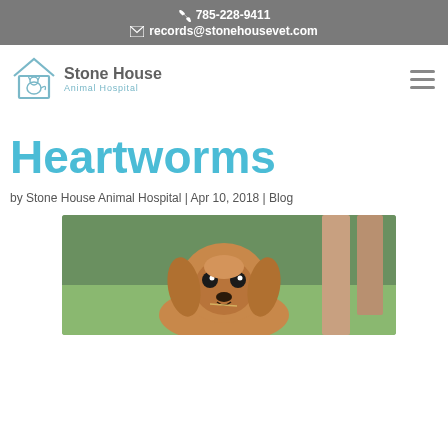📞 785-228-9411 ✉ records@stonehousevet.com
[Figure (logo): Stone House Animal Hospital logo with stylized house and animal silhouette]
Heartworms
by Stone House Animal Hospital | Apr 10, 2018 | Blog
[Figure (photo): Close-up photo of a golden/brown Cocker Spaniel dog looking at camera, outdoors with green grass background and person's legs visible]